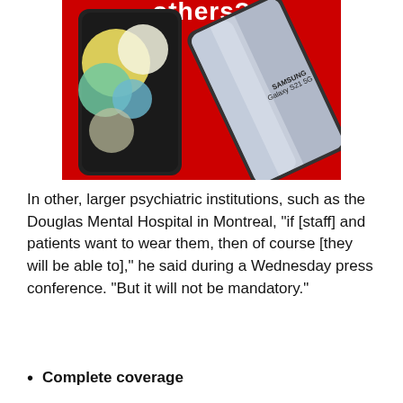[Figure (photo): Advertisement image on red background showing two Samsung smartphones — a Samsung Galaxy A51 with colorful abstract wallpaper on the left, and a Samsung Galaxy S21 5G with a silver/metallic design on the right. The top of the image shows partial white text reading 'others?']
In other, larger psychiatric institutions, such as the Douglas Mental Hospital in Montreal, "if [staff] and patients want to wear them, then of course [they will be able to]," he said during a Wednesday press conference. "But it will not be mandatory."
Complete coverage